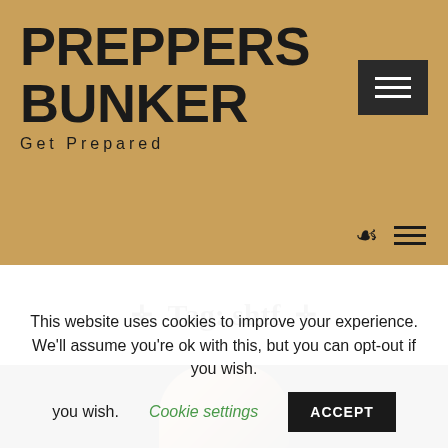PREPPERS BUNKER
Get Prepared
[Figure (screenshot): Hamburger menu icon button (dark background, three white horizontal lines)]
[Figure (screenshot): Navigation icons: search (magnifying glass) and menu (three horizontal lines)]
✛  Tag: shtf  ✛
[Figure (photo): Partial photo showing a hand/fist against a dark background]
This website uses cookies to improve your experience. We'll assume you're ok with this, but you can opt-out if you wish.
Cookie settings   ACCEPT